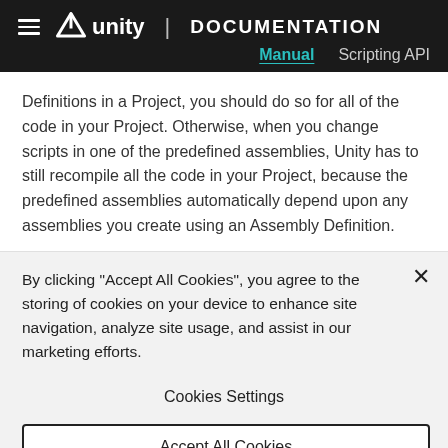Unity | DOCUMENTATION
Manual   Scripting API
Definitions in a Project, you should do so for all of the code in your Project. Otherwise, when you change scripts in one of the predefined assemblies, Unity has to still recompile all the code in your Project, because the predefined assemblies automatically depend upon any assemblies you create using an Assembly Definition.
By clicking "Accept All Cookies", you agree to the storing of cookies on your device to enhance site navigation, analyze site usage, and assist in our marketing efforts.
Cookies Settings
Accept All Cookies